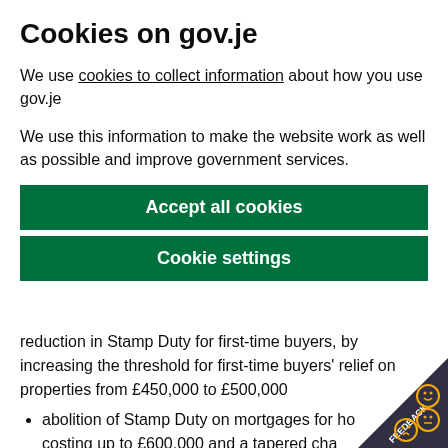Cookies on gov.je
We use cookies to collect information about how you use gov.je
We use this information to make the website work as well as possible and improve government services.
Accept all cookies
Cookie settings
reduction in Stamp Duty for first-time buyers, by increasing the threshold for first-time buyers' relief on properties from £450,000 to £500,000
abolition of Stamp Duty on mortgages for homes costing up to £600,000 and a tapered charge for homes valued between £600,000 and £...